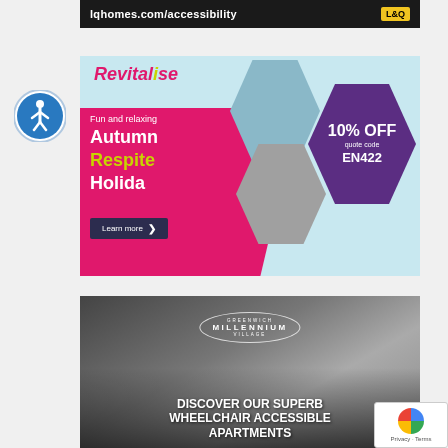[Figure (illustration): Top dark banner ad for lqhomes.com/accessibility with L&Q logo in yellow]
[Figure (illustration): Revitalise accessibility holiday ad: Fun and relaxing Autumn Respite Holiday, 10% OFF quote code EN422, Learn more button]
[Figure (illustration): Greenwich Millennium Village ad: Discover our superb wheelchair accessible apartments, with interior apartment photo]